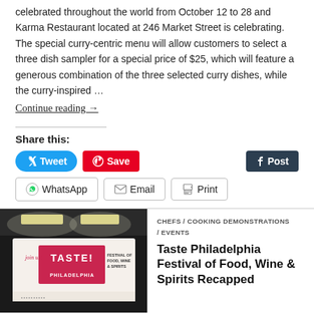celebrated throughout the world from October 12 to 28 and Karma Restaurant located at 246 Market Street is celebrating. The special curry-centric menu will allow customers to select a three dish sampler for a special price of $25, which will feature a generous combination of the three selected curry dishes, while the curry-inspired …
Continue reading →
Share this:
[Figure (screenshot): Social share buttons: Tweet (blue), Save (red Pinterest), Post (dark Tumblr), WhatsApp, Email, Print]
[Figure (photo): Photo of Taste Philadelphia Festival of Food, Wine & Spirits signage indoors with overhead lighting]
CHEFS / COOKING DEMONSTRATIONS / EVENTS
Taste Philadelphia Festival of Food, Wine & Spirits Recapped